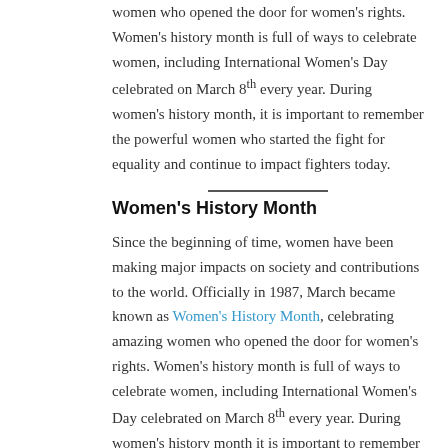women who opened the door for women's rights. Women's history month is full of ways to celebrate women, including International Women's Day celebrated on March 8th every year. During women's history month, it is important to remember the powerful women who started the fight for equality and continue to impact fighters today.
Women's History Month
Since the beginning of time, women have been making major impacts on society and contributions to the world. Officially in 1987, March became known as Women's History Month, celebrating amazing women who opened the door for women's rights. Women's history month is full of ways to celebrate women, including International Women's Day celebrated on March 8th every year. During women's history month it is important to remember the powerful women who started the fight for equality and